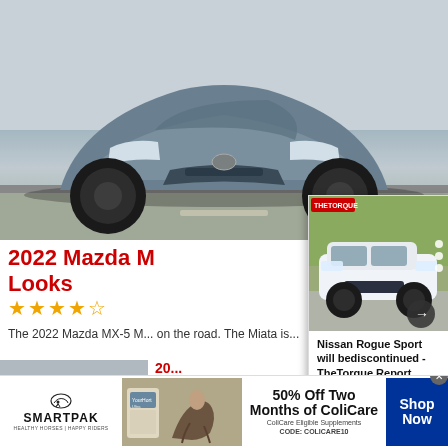[Figure (photo): Front view of a 2022 Mazda MX-5 Miata in dark gray/blue color on a road]
2022 Mazda M... Looks
★★★★☆
The 2022 Mazda MX-5 M... on the road. The Miata is...
[Figure (photo): Gray sports car (Toyota GR Supra) thumbnail]
20... & R...
★★★★☆
[Figure (photo): Nissan Rogue Sport white SUV front view in an overlay card with navigation arrows]
Nissan Rogue Sport will bediscontinued - TheTorque Report
[Figure (photo): SmartPak advertisement showing a horse and rider with supplement product. 50% Off Two Months of ColiCare. ColiCare Eligible Supplements. CODE: COLICARE10]